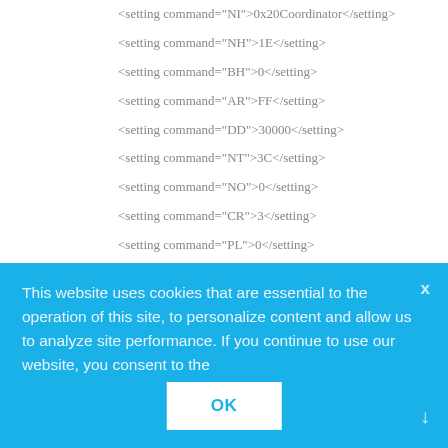<setting command="NI">0x20Coordinator</setting>
<setting command="NH">1E</setting>
<setting command="BH">0</setting>
<setting command="AR">FF</setting>
<setting command="DD">30000</setting>
<setting command="NT">3C</setting>
<setting command="NO">0</setting>
<setting command="CR">3</setting>
<setting command="PL">0</setting>
This website uses cookies that are essential to the operation of this site, to personalize content and allow us to analyze site performance. If you continue to use our website, you consent to the
OK